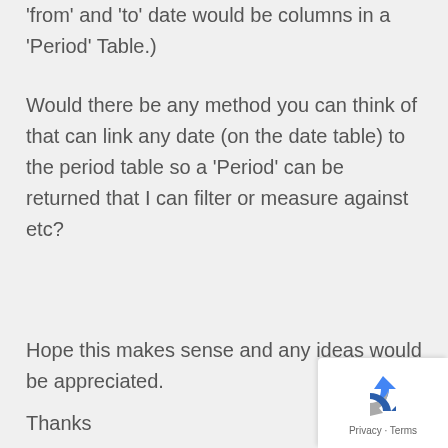'from' and 'to' date would be columns in a 'Period' Table.)
Would there be any method you can think of that can link any date (on the date table) to the period table so a 'Period' can be returned that I can filter or measure against etc?
Hope this makes sense and any ideas would be appreciated.
Thanks
[Figure (logo): reCAPTCHA logo with Privacy and Terms text]